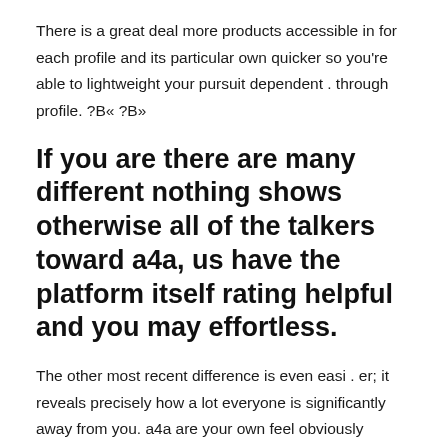There is a great deal more products accessible in for each profile and its particular own quicker so you're able to lightweight your pursuit dependent . through profile. ?B« ?B»
If you are there are many different nothing shows otherwise all of the talkers toward a4a, us have the platform itself rating helpful and you may effortless.
The other most recent difference is even easi . er; it reveals precisely how a lot everyone is significantly away from you. a4a are your own feel obviously pleasant long ago you get not get offended given that rudeness out of visitors; due to the fact